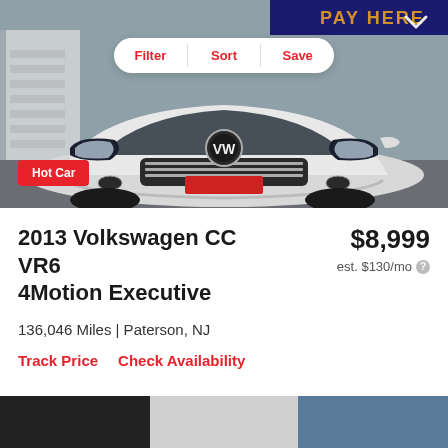[Figure (photo): White 2013 Volkswagen CC VR6 4Motion Executive photographed from the front at a car dealership lot. A red 'Hot Car' badge appears in the bottom-left of the image. A filter/sort/save toolbar appears at the top center of the image.]
2013 Volkswagen CC VR6 4Motion Executive
$8,999
est. $130/mo
136,046 Miles | Paterson, NJ
Track Price    Check Availability